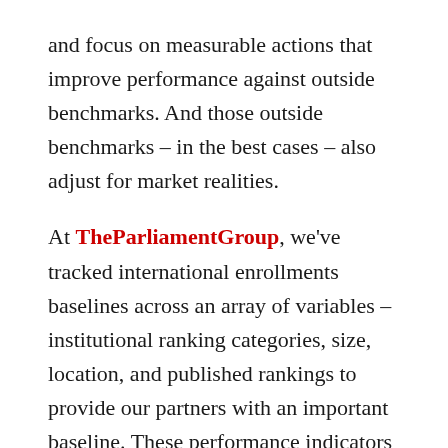and focus on measurable actions that improve performance against outside benchmarks. And those outside benchmarks – in the best cases – also adjust for market realities.
At TheParliamentGroup, we've tracked international enrollments baselines across an array of variables – institutional ranking categories, size, location, and published rankings to provide our partners with an important baseline. These performance indicators show how institutions are doing relative to a defined peer group.  And once you've defined those peers that are outperforming